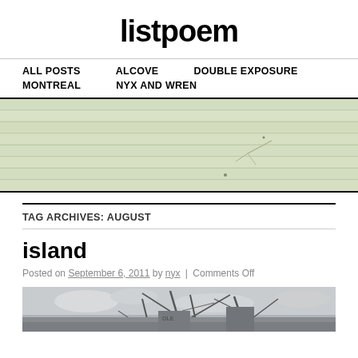listpoem
ALL POSTS | ALCOVE | DOUBLE EXPOSURE | MONTREAL | NYX AND WREN
[Figure (photo): Close-up of pale green horizontal siding on a building, with visible dents and damage marks.]
TAG ARCHIVES: AUGUST
island
Posted on September 6, 2011 by nyx | Comments Off
[Figure (photo): Black and white photograph showing industrial cranes or ship rigging against a cloudy sky.]